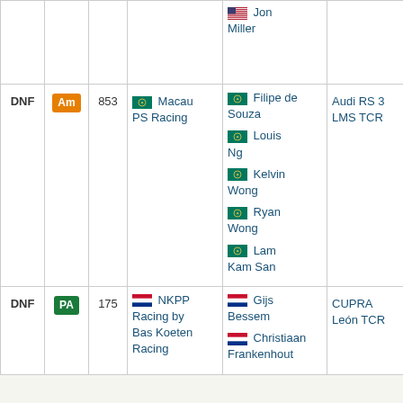| Pos | Class | No. | Team | Drivers | Car | Reason | Laps |
| --- | --- | --- | --- | --- | --- | --- | --- |
| DNF | Am | 853 | Macau PS Racing | Filipe de Souza / Louis Ng / Kelvin Wong / Ryan Wong / Lam Kam San | Audi RS 3 LMS TCR | Crash damage | 8 |
| DNF | PA | 175 | NKPP Racing by Bas Koeten Racing | Gijs Bessem / Christiaan Frankenhout / ... | CUPRA León TCR | Crash | 2 |